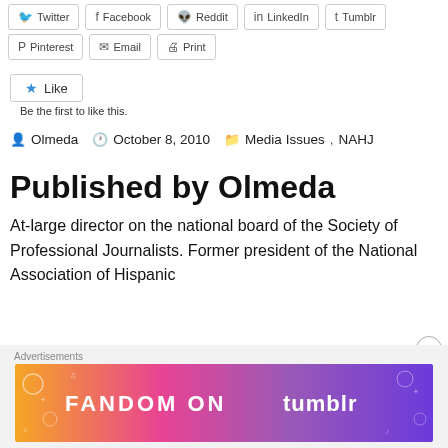Twitter Facebook Reddit LinkedIn Tumblr Pinterest Email Print (share buttons)
Like
Be the first to like this.
Olmeda   October 8, 2010   Media Issues, NAHJ
Published by Olmeda
At-large director on the national board of the Society of Professional Journalists. Former president of the National Association of Hispanic
Advertisements
[Figure (illustration): Fandom on Tumblr advertisement banner with colorful gradient background (orange to purple) and white doodle illustrations]